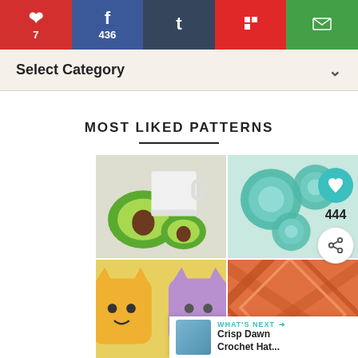Pinterest 7 | Facebook 436 | Tumblr | Flipboard | Email
Select Category
MOST LIKED PATTERNS
[Figure (photo): Four crochet coaster photos in a 2x2 grid: avocado coasters with a white mug, teal/mint spiral coasters, yellow and purple cat coasters, orange geometric pattern coasters]
444
WHAT'S NEXT → Crisp Dawn Crochet Hat...